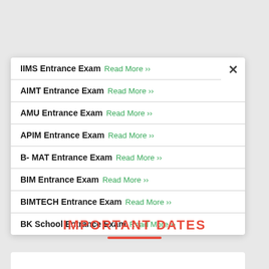IIMS Entrance Exam Read More >>
AIMT Entrance Exam Read More >>
AMU Entrance Exam Read More >>
APIM Entrance Exam Read More >>
B- MAT Entrance Exam Read More >>
BIM Entrance Exam Read More >>
BIMTECH Entrance Exam Read More >>
BK School Entrance Exam Read More >>
IMPORTANT DATES